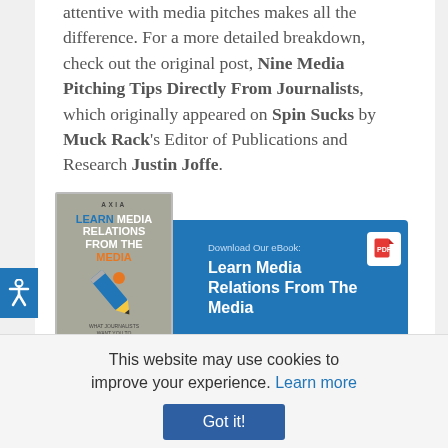attentive with media pitches makes all the difference. For a more detailed breakdown, check out the original post, Nine Media Pitching Tips Directly From Journalists, which originally appeared on Spin Sucks by Muck Rack's Editor of Publications and Research Justin Joffe.
[Figure (infographic): Advertisement banner for an eBook titled 'Learn Media Relations From The Media'. Blue background with book cover image on the left featuring a pencil graphic, and download button on the right.]
Photo by Christian Salas on Unsplash
This website may use cookies to improve your experience. Learn more
Got it!